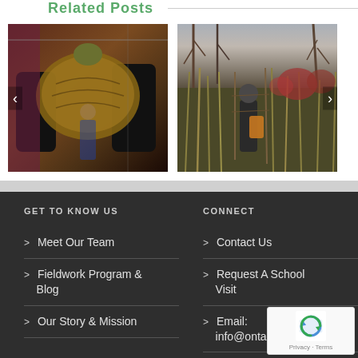Related Posts
[Figure (photo): Person holding a snapping turtle at an outdoor event with people in background]
[Figure (photo): Person walking through a wetland/marsh area with bare trees and vegetation]
GET TO KNOW US
CONNECT
> Meet Our Team
> Contact Us
> Fieldwork Program & Blog
> Request A School Visit
> Our Story & Mission
> Email: info@ontariosturtle.ca